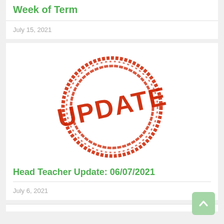Week of Term
July 15, 2021
[Figure (illustration): Red rubber stamp with the word UPDATE in bold red letters inside a circular border, distressed/grunge style]
Head Teacher Update: 06/07/2021
July 6, 2021